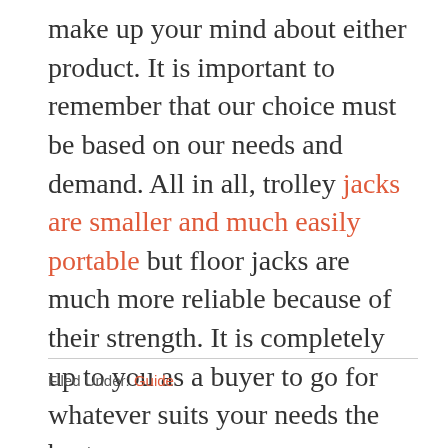make up your mind about either product. It is important to remember that our choice must be based on our needs and demand. All in all, trolley jacks are smaller and much easily portable but floor jacks are much more reliable because of their strength. It is completely up to you as a buyer to go for whatever suits your needs the best.
Filed Under: Guide